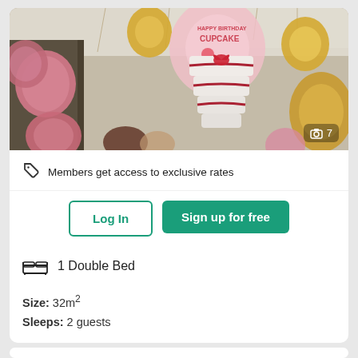[Figure (photo): Hotel room decorated with pink and gold balloons and a white layered cake with red ribbons, with a birthday balloon visible at top]
Members get access to exclusive rates
Log In
Sign up for free
1 Double Bed
Size: 32m²
Sleeps: 2 guests
View all details